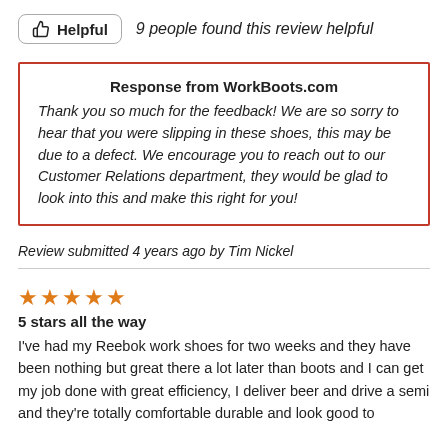Helpful  9 people found this review helpful
Response from WorkBoots.com
Thank you so much for the feedback! We are so sorry to hear that you were slipping in these shoes, this may be due to a defect. We encourage you to reach out to our Customer Relations department, they would be glad to look into this and make this right for you!
Review submitted 4 years ago by Tim Nickel
★★★★★
5 stars all the way
I've had my Reebok work shoes for two weeks and they have been nothing but great there a lot later than boots and I can get my job done with great efficiency, I deliver beer and drive a semi and they're totally comfortable durable and look good to